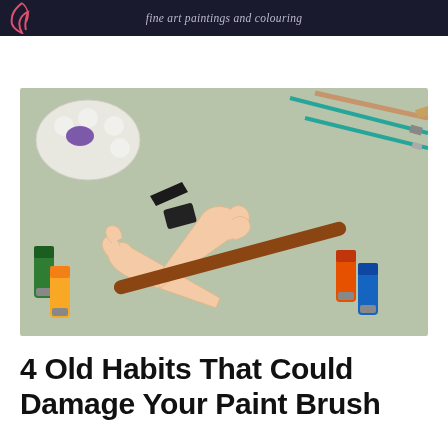fine art paintings and colouring
[Figure (photo): Two hands holding a flat paint brush with a dark ferrule and long wooden handle. In the background on a sage green surface are paint tubes (green, yellow, orange, blue), a white palette, and several thin brushes with green handles.]
4 Old Habits That Could Damage Your Paint Brush